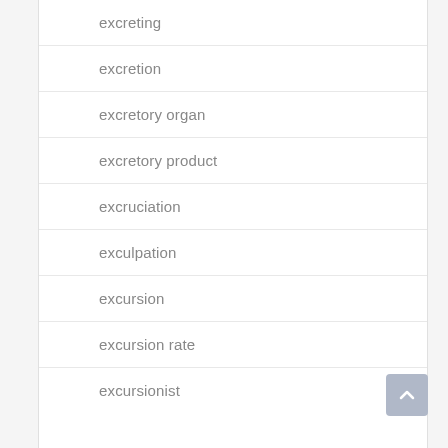excreting
excretion
excretory organ
excretory product
excruciation
exculpation
excursion
excursion rate
excursionist